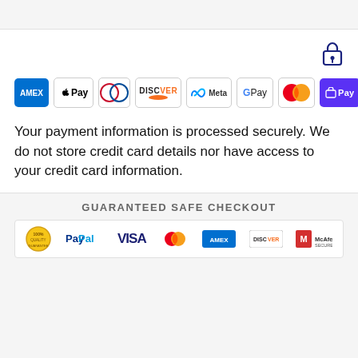[Figure (infographic): Row of payment method logos: American Express (AMEX), Apple Pay, Diners Club, Discover, Meta Pay, Google Pay, Mastercard, Shop Pay, Visa]
Your payment information is processed securely. We do not store credit card details nor have access to your credit card information.
GUARANTEED SAFE CHECKOUT
[Figure (infographic): Guaranteed Safe Checkout badge strip showing PayPal, VISA, Mastercard, American Express, Discover, McAfee logos]